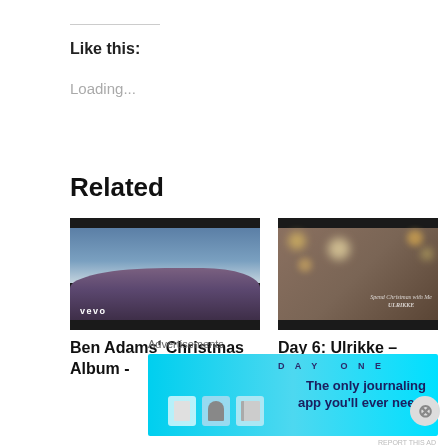Like this:
Loading...
Related
[Figure (photo): Aerial winter landscape with snow-covered terrain and purple-blue sky, with Vevo logo watermark in lower left]
Ben Adams' Christmas Album -
[Figure (photo): Woman smiling holding a white cup surrounded by Christmas bokeh lights with text overlay 'Spend Christmas with Me - Ulrikke']
Day 6: Ulrikke – Spend Christmas
Advertisements
[Figure (screenshot): Day One journaling app advertisement with cyan/blue gradient background showing app icons and text 'The only journaling app you'll ever need.']